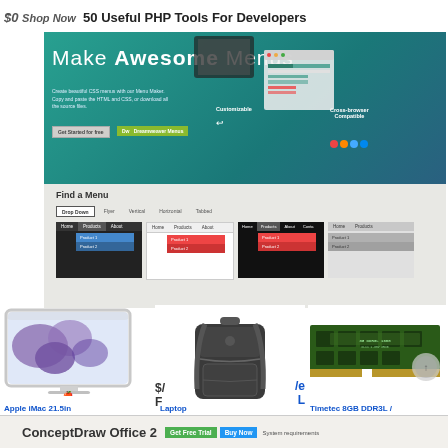50 Useful PHP Tools For Developers
[Figure (screenshot): Screenshot of cssmenustyle.com showing 'Make Awesome Menus' banner with teal/green gradient header, menu navigation examples, and 'Find a Menu' section with dropdown options]
[Figure (photo): Apple iMac 21.5in desktop computer with purple flower wallpaper]
[Figure (photo): Black laptop backpack]
[Figure (photo): Timetec 8GB DDR3L RAM stick on green circuit board]
Apple iMac 21.5in
Laptop
Timetec 8GB DDR3L /
[Figure (screenshot): Bottom banner showing ConceptDraw Office 2 with Get Free Trial and Buy Now buttons]